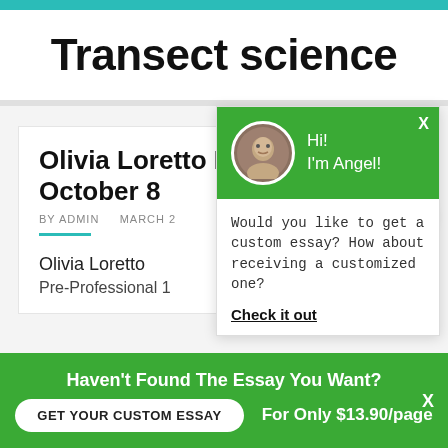Transect science
Olivia Loretto P... October 8
BY ADMIN   MARCH 2
Olivia Loretto
Pre-Professional 1
[Figure (screenshot): Chat popup with green header showing avatar of Angel, greeting 'Hi! I'm Angel!', body text 'Would you like to get a custom essay? How about receiving a customized one?', and a 'Check it out' link]
Haven't Found The Essay You Want?
GET YOUR CUSTOM ESSAY
For Only $13.90/page